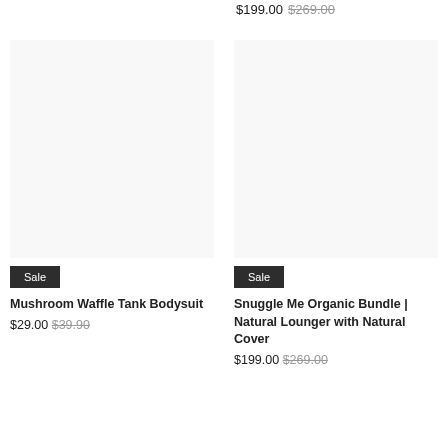$199.00 $269.00
[Figure (photo): Product image area for Mushroom Waffle Tank Bodysuit (blank/white)]
Sale
Mushroom Waffle Tank Bodysuit
$29.00 $39.90
[Figure (photo): Product image area for Snuggle Me Organic Bundle (blank/white)]
Sale
Snuggle Me Organic Bundle | Natural Lounger with Natural Cover
$199.00 $269.00